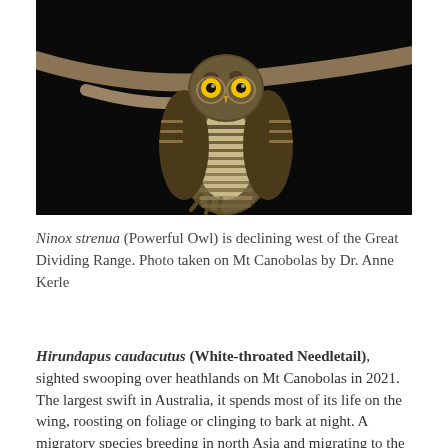[Figure (photo): Photograph of a Powerful Owl (Ninox strenua) perched on a branch against a black background, showing mottled brown and white patterned plumage.]
Ninox strenua (Powerful Owl) is declining west of the Great Dividing Range. Photo taken on Mt Canobolas by Dr. Anne Kerle
Hirundapus caudacutus (White-throated Needletail), sighted swooping over heathlands on Mt Canobolas in 2021. The largest swift in Australia, it spends most of its life on the wing, roosting on foliage or clinging to bark at night. A migratory species breeding in north Asia and migrating to the east coast of Australia in October where